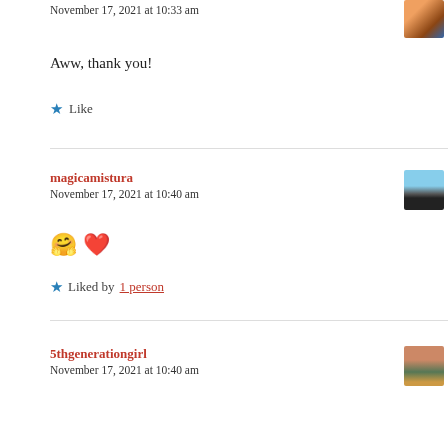November 17, 2021 at 10:33 am
Aww, thank you!
Like
magicamistura
November 17, 2021 at 10:40 am
🤗 ❤️
Liked by 1 person
5thgenerationgirl
November 17, 2021 at 10:40 am